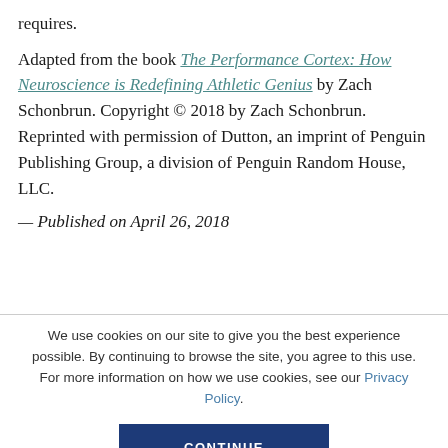requires.
Adapted from the book The Performance Cortex: How Neuroscience is Redefining Athletic Genius by Zach Schonbrun. Copyright © 2018 by Zach Schonbrun. Reprinted with permission of Dutton, an imprint of Penguin Publishing Group, a division of Penguin Random House, LLC.
— Published on April 26, 2018
We use cookies on our site to give you the best experience possible. By continuing to browse the site, you agree to this use. For more information on how we use cookies, see our Privacy Policy.
CONTINUE